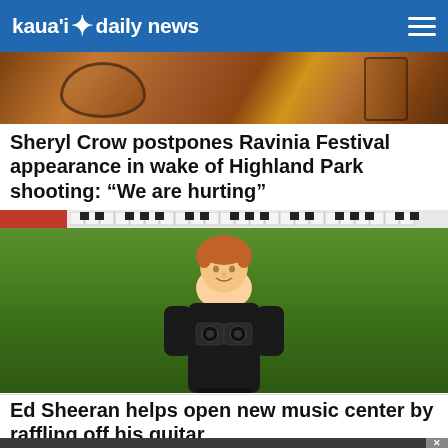kaua'i daily news
[Figure (photo): Close-up of someone playing a stringed instrument, warm brown tones]
Sheryl Crow postpones Ravinia Festival appearance in wake of Highland Park shooting: "We are hurting"
[Figure (photo): Ed Sheeran standing on a green grass lawn wearing a black jacket, smiling]
Ed Sheeran helps open new music center by raffling off his guitar
[Figure (photo): Dark bottom advertisement bar with close button]